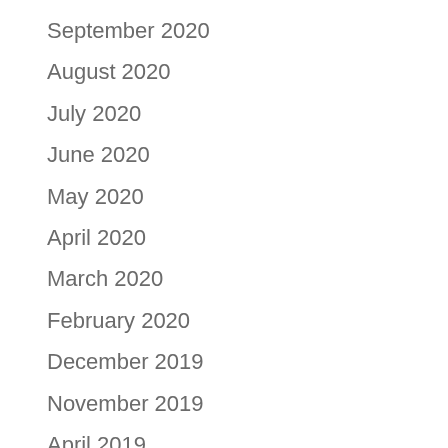September 2020
August 2020
July 2020
June 2020
May 2020
April 2020
March 2020
February 2020
December 2019
November 2019
April 2019
March 2019